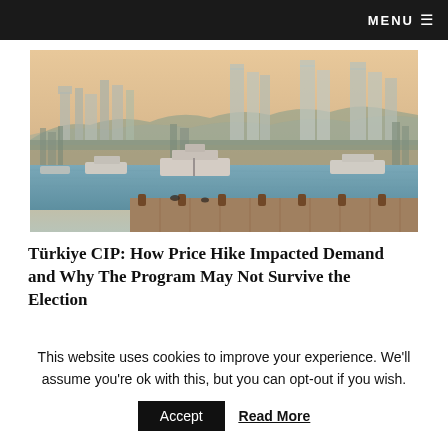MENU ≡
[Figure (photo): Istanbul cityscape with the Bosphorus strait in the foreground, boats on the water, a wooden dock/pier, and skyscrapers and hills in the background under a hazy amber sky.]
Türkiye CIP: How Price Hike Impacted Demand and Why The Program May Not Survive the Election
This website uses cookies to improve your experience. We'll assume you're ok with this, but you can opt-out if you wish.
Accept   Read More